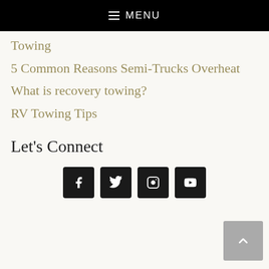MENU
Towing
5 Common Reasons Semi-Trucks Overheat
What is recovery towing?
RV Towing Tips
Let's Connect